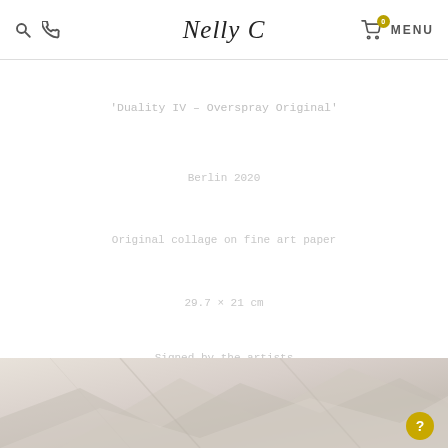Nelly C — navigation header with search, phone, cart (0), and MENU
'Duality IV – Overspray Original'
Berlin 2020
Original collage on fine art paper
29.7 × 21 cm
Signed by the artists
£345
[Figure (photo): Bottom portion of webpage showing a partial photo of artwork — a collage with light beige and grey tones, with a yellow circular help/info button in the bottom right corner.]